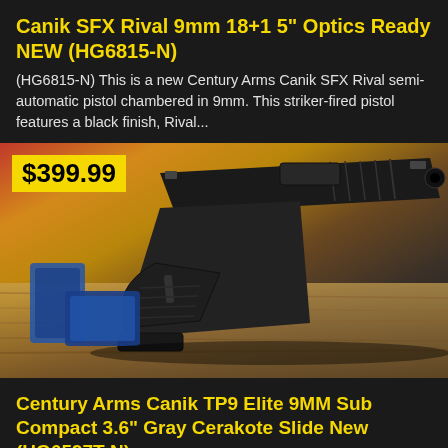Canik SFX Rival 9mm 18+1 5" Optics Ready NEW (HG6815-N)
(HG6815-N) This is a new Century Arms Canik SFX Rival semi-automatic pistol chambered in 9mm. This striker-fired pistol features a black finish, Rival...
[Figure (photo): Canik SFX Rival 9mm pistol displayed against a colorful wooden background with red, yellow, and blue accents. Price badge showing $399.99 in yellow on black overlay at top left.]
Century Arms Canik TP9 Elite 9MM Sub Compact 3.6" Gray Cerakote Slide New (HG6597T-N)
(HG6597T-N) New Century Arms Canik TP9 Elite Sub Compact